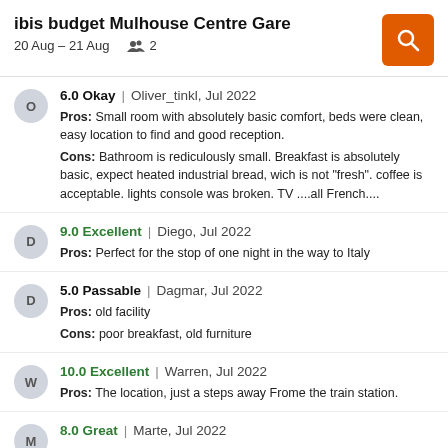ibis budget Mulhouse Centre Gare
20 Aug – 21 Aug   👥 2
6.0 Okay | Oliver_tinkl, Jul 2022
Pros: Small room with absolutely basic comfort, beds were clean, easy location to find and good reception.
Cons: Bathroom is rediculously small. Breakfast is absolutely basic, expect heated industrial bread, wich is not "fresh". coffee is acceptable. lights console was broken. TV ....all French....
9.0 Excellent | Diego, Jul 2022
Pros: Perfect for the stop of one night in the way to Italy
5.0 Passable | Dagmar, Jul 2022
Pros: old facility
Cons: poor breakfast, old furniture
10.0 Excellent | Warren, Jul 2022
Pros: The location, just a steps away Frome the train station.
8.0 Great | Marte, Jul 2022